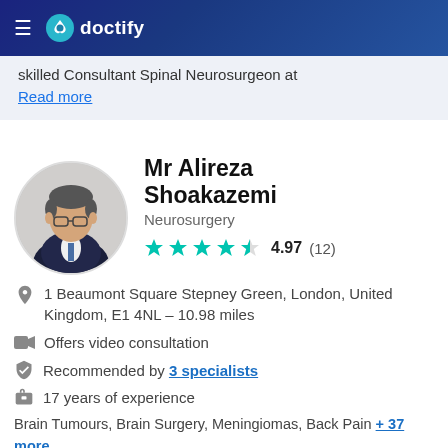doctify
skilled Consultant Spinal Neurosurgeon at
Read more
Mr Alireza Shoakazemi
Neurosurgery
4.97 (12)
1 Beaumont Square Stepney Green, London, United Kingdom, E1 4NL - 10.98 miles
Offers video consultation
Recommended by 3 specialists
17 years of experience
Brain Tumours, Brain Surgery, Meningiomas, Back Pain + 37 more